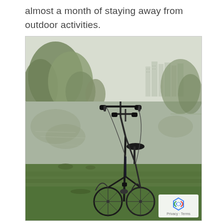almost a month of staying away from outdoor activities.
[Figure (photo): A folding bicycle parked on green grass beside a calm lake or pond, with trees reflected in the water and apartment buildings visible in the misty background.]